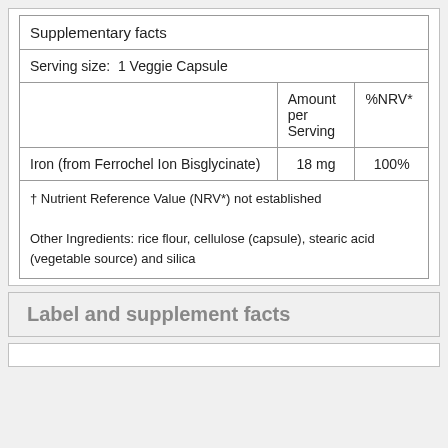|  | Amount per Serving | %NRV* |
| --- | --- | --- |
| Supplementary facts |  |  |
| Serving size:  1 Veggie Capsule |  |  |
| Iron (from Ferrochel Ion Bisglycinate) | 18 mg | 100% |
| † Nutrient Reference Value (NRV*) not established
Other Ingredients: rice flour, cellulose (capsule), stearic acid (vegetable source) and silica |  |  |
Label and supplement facts